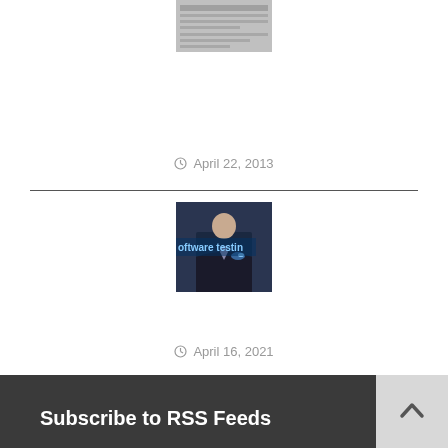[Figure (screenshot): Small thumbnail image of a Windows firewall settings screen, grayscale]
Windows Firewall – How It Works and How to Configure It
April 22, 2013
[Figure (photo): Man in suit pressing a software testing button on a touchscreen, blue glowing UI, text reads 'oftware testin']
Benefits Of RPA In Shared Services
April 16, 2021
Subscribe to RSS Feeds